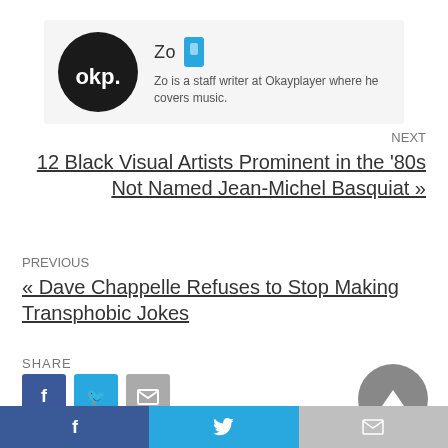[Figure (illustration): Author bio box with circular OKP logo avatar, author name 'Zo' with blue icon, and bio text 'Zo is a staff writer at Okayplayer where he covers music.']
NEXT
12 Black Visual Artists Prominent in the '80s Not Named Jean-Michel Basquiat »
PREVIOUS
« Dave Chappelle Refuses to Stop Making Transphobic Jokes
SHARE
[Figure (infographic): Share buttons: Facebook (blue), Twitter (light blue), Email (gray), and scroll-to-top circular button (gray)]
[Figure (infographic): Bottom bar with three sections: Facebook (dark blue with f icon), Twitter (blue with bird icon), Email (gray with envelope icon)]